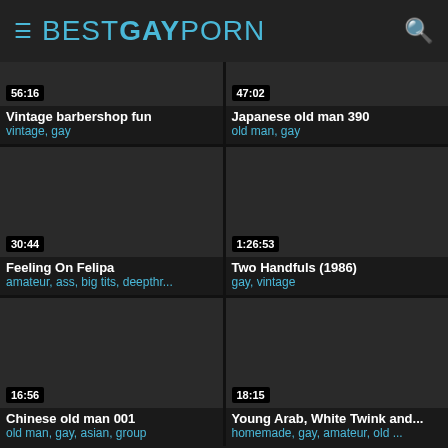BESTGAYPORN
[Figure (screenshot): Video thumbnail dark, duration 56:16]
Vintage barbershop fun
vintage, gay
[Figure (screenshot): Video thumbnail dark, duration 47:02]
Japanese old man 390
old man, gay
[Figure (screenshot): Video thumbnail dark, duration 30:44]
Feeling On Felipa
amateur, ass, big tits, deepthr...
[Figure (screenshot): Video thumbnail dark, duration 1:26:53]
Two Handfuls (1986)
gay, vintage
[Figure (screenshot): Video thumbnail dark, duration 16:56]
Chinese old man 001
old man, gay, asian, group
[Figure (screenshot): Video thumbnail dark, duration 18:15]
Young Arab, White Twink and...
homemade, gay, amateur, old ...